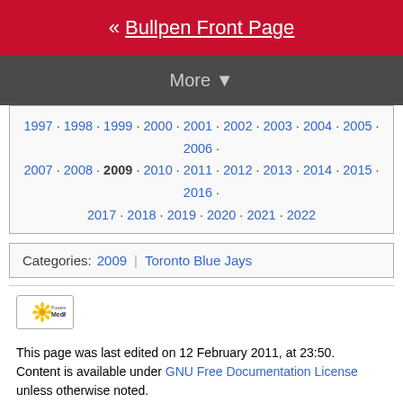« Bullpen Front Page
More ▼
1997 · 1998 · 1999 · 2000 · 2001 · 2002 · 2003 · 2004 · 2005 · 2006 · 2007 · 2008 · 2009 · 2010 · 2011 · 2012 · 2013 · 2014 · 2015 · 2016 · 2017 · 2018 · 2019 · 2020 · 2021 · 2022
Categories: 2009 | Toronto Blue Jays
[Figure (logo): Powered by MediaWiki logo badge]
This page was last edited on 12 February 2011, at 23:50. Content is available under GNU Free Documentation License unless otherwise noted. About the BR Bullpen  Disclaimers